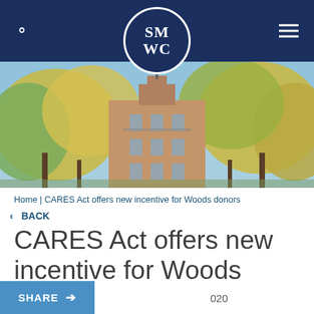SMWC
[Figure (photo): Exterior photo of a brick college building with a cross on top, surrounded by autumn trees with yellow and green foliage against a blue sky]
Home | CARES Act offers new incentive for Woods donors
< BACK
CARES Act offers new incentive for Woods donors